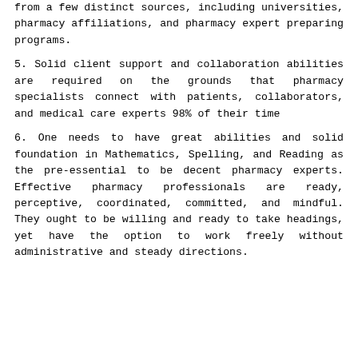from a few distinct sources, including universities, pharmacy affiliations, and pharmacy expert preparing programs.
5. Solid client support and collaboration abilities are required on the grounds that pharmacy specialists connect with patients, collaborators, and medical care experts 98% of their time
6. One needs to have great abilities and solid foundation in Mathematics, Spelling, and Reading as the pre-essential to be decent pharmacy experts. Effective pharmacy professionals are ready, perceptive, coordinated, committed, and mindful. They ought to be willing and ready to take headings, yet have the option to work freely without administrative and steady directions.